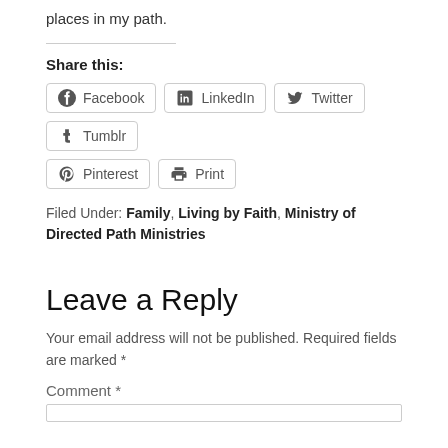places in my path.
Share this:
Facebook  LinkedIn  Twitter  Tumblr  Pinterest  Print
Filed Under: Family, Living by Faith, Ministry of Directed Path Ministries
Leave a Reply
Your email address will not be published. Required fields are marked *
Comment *